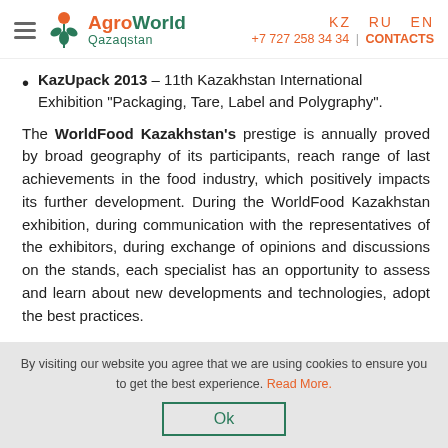AgroWorld Qazaqstan | KZ RU EN | +7 727 258 34 34 | CONTACTS
KazUpack 2013 – 11th Kazakhstan International Exhibition "Packaging, Tare, Label and Polygraphy".
The WorldFood Kazakhstan's prestige is annually proved by broad geography of its participants, reach range of last achievements in the food industry, which positively impacts its further development. During the WorldFood Kazakhstan exhibition, during communication with the representatives of the exhibitors, during exchange of opinions and discussions on the stands, each specialist has an opportunity to assess and learn about new developments and technologies, adopt the best practices.
By visiting our website you agree that we are using cookies to ensure you to get the best experience. Read More.